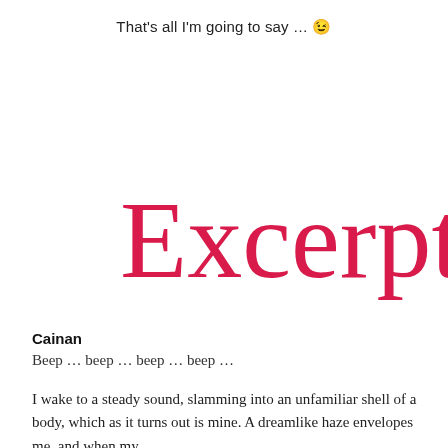That's all I'm going to say … 😉
Excerpt
Cainan
Beep … beep … beep … beep …
I wake to a steady sound, slamming into an unfamiliar shell of a body, which as it turns out is mine. A dreamlike haze envelopes me, and when my